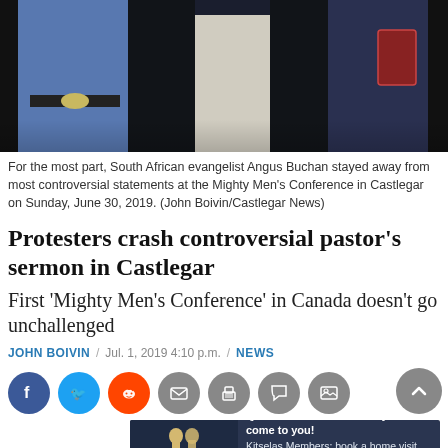[Figure (photo): Group of people at an outdoor event; man in blue plaid shirt with belt buckle in foreground, others visible behind him]
For the most part, South African evangelist Angus Buchan stayed away from most controversial statements at the Mighty Men's Conference in Castlegar on Sunday, June 30, 2019. (John Boivin/Castlegar News)
Protesters crash controversial pastor’s sermon in Castlegar
First ‘Mighty Men’s Conference’ in Canada doesn’t go unchallenged
JOHN BOIVIN / Jul. 1, 2019 4:10 p.m. / NEWS
[Figure (infographic): Social media sharing buttons: Facebook (blue), Twitter (light blue), Reddit (orange), Email (grey), Print (grey), Comment (grey), Image (grey). Scroll-to-top button (grey) on right.]
[Figure (infographic): Advertisement banner for Kitselas Treaty: dark blue background with Kitselas logo and text 'Questions about the Treaty? We’ll come to you! Kitselas Members: book a home visit with the Treaty Engagement Team! MORE INFO »']